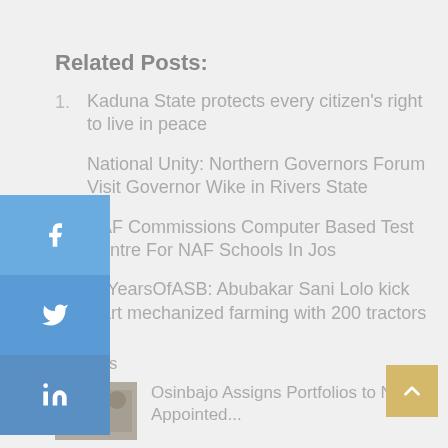Related Posts:
Kaduna State protects every citizen's right to live in peace
National Unity: Northern Governors Forum Visit Governor Wike in Rivers State
NAF Commissions Computer Based Test Centre For NAF Schools In Jos
#3YearsOfASB: Abubakar Sani Lolo kick start mechanized farming with 200 tractors
Previous
Osinbajo Assigns Portfolios to...